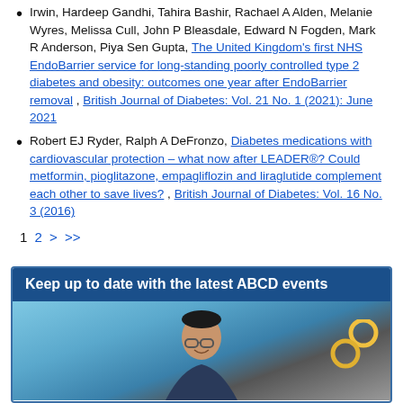Irwin, Hardeep Gandhi, Tahira Bashir, Rachael A Alden, Melanie Wyres, Melissa Cull, John P Bleasdale, Edward N Fogden, Mark R Anderson, Piya Sen Gupta, The United Kingdom's first NHS EndoBarrier service for long-standing poorly controlled type 2 diabetes and obesity: outcomes one year after EndoBarrier removal, British Journal of Diabetes: Vol. 21 No. 1 (2021): June 2021
Robert EJ Ryder, Ralph A DeFronzo, Diabetes medications with cardiovascular protection – what now after LEADER®? Could metformin, pioglitazone, empagliflozin and liraglutide complement each other to save lives?, British Journal of Diabetes: Vol. 16 No. 3 (2016)
1 2 > >>
[Figure (photo): Banner advertisement reading 'Keep up to date with the latest ABCD events' with a photo of a smiling man wearing glasses below it.]